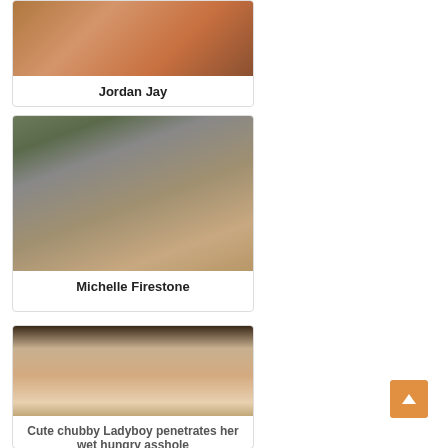[Figure (photo): Partial thumbnail image card for Jordan Jay]
Jordan Jay
[Figure (photo): Thumbnail image card for Michelle Firestone]
Michelle Firestone
[Figure (photo): Thumbnail image card for Cute chubby Ladyboy penetrates her wet hungry asshole]
Cute chubby Ladyboy penetrates her wet hungry asshole